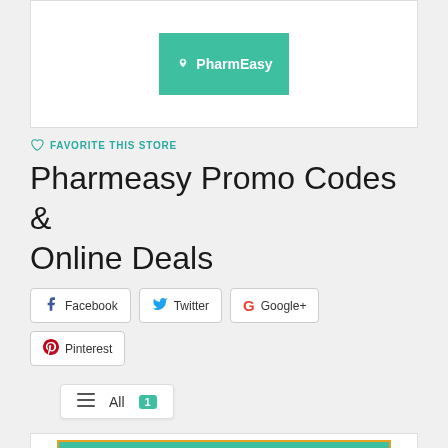[Figure (logo): PharmEasy logo on teal/green background inside a white card]
♡ FAVORITE THIS STORE
Pharmeasy Promo Codes & Online Deals
Facebook  Twitter  Google+  Pinterest
All 1
[Figure (other): Bottom teal green card with orange border — partial view]